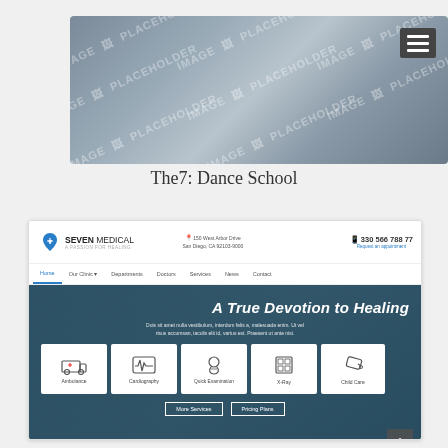[Figure (screenshot): Website screenshot showing image placeholders with 'IMAGE PLACEHOLDER' watermark text, dark gray/blue background, with hamburger menu icon in top right]
The7: Dance School
[Figure (screenshot): Seven Medical website screenshot showing header with logo, contact info (150 West Arbor Drive, San Diego, CA 92103-9000, 330 566 788 77), navigation bar (Home, Our Clinic, Departments, Doctors, Services, News, Contact), hero section with 'A True Devotion to Healing' headline, body text, five service icons (Ambulance, Cardiography, Quick Examination, X-Ray, Child Care), and two buttons (More Services, Pricing Plans)]